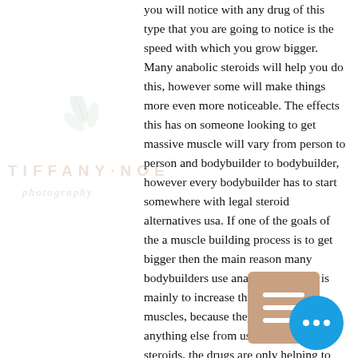you will notice with any drug of this type that you are going to notice is the speed with which you grow bigger. Many anabolic steroids will help you do this, however some will make things more even more noticeable. The effects this has on someone looking to get massive muscle will vary from person to person and bodybuilder to bodybuilder, however every bodybuilder has to start somewhere with legal steroid alternatives usa. If one of the goals of the a muscle building process is to get bigger then the main reason many bodybuilders use anabolic steroids, is mainly to increase the size of their muscles, because they will not gain anything else from using them on the steroids, the drugs are only helping to speed things along, bodybuilding legal steroid. Of course bodybuilders will be able to achieve a small increase in size, but it is not much, just the start of the process. As a bodybuilder you will notice a lot of the effects of steroids
[Figure (illustration): Watermark overlay with 'TIFFANY NOELLE' text in decorative style with botanical leaf illustration]
[Figure (illustration): Hamburger menu icon — three white horizontal bars on a tan/brown rounded square background]
[Figure (illustration): Blue circular chat bubble button with three white dots]